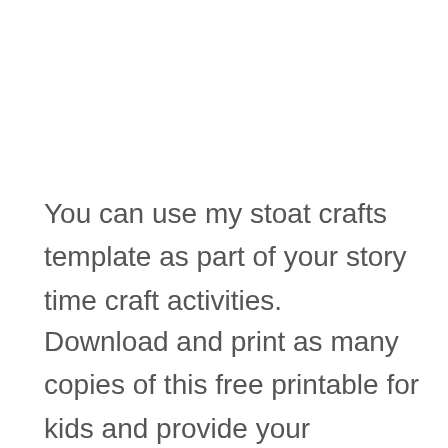You can use my stoat crafts template as part of your story time craft activities.
Download and print as many copies of this free printable for kids and provide your preschoolers with some crayons so that their little hands will keep busy as they listen to the stories you read aloud during story time.